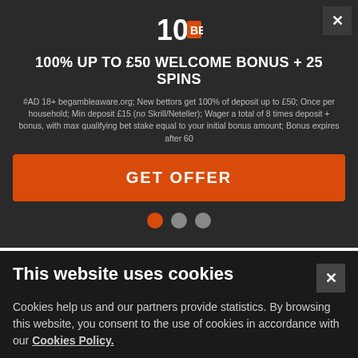[Figure (logo): 10Bet logo - white text on dark background]
100% UP TO £50 WELCOME BONUS + 25 SPINS
#AD 18+ begambleaware.org; New bettors get 100% of deposit up to £50; Once per household; Min deposit £15 (no Skrill/Neteller); Wager a total of 8 times deposit + bonus, with max qualifying bet stake equal to your initial bonus amount; Bonus expires after 60
GET OFFER
Carlisle 18:20
Full Result →
1st  Perfect Play  9/2
2nd  Rievaulx Raver  11/1
This website uses cookies
Cookies help us and our partners provide statistics. By browsing this website, you consent to the use of cookies in accordance with our Cookies Policy.
Accept & Close